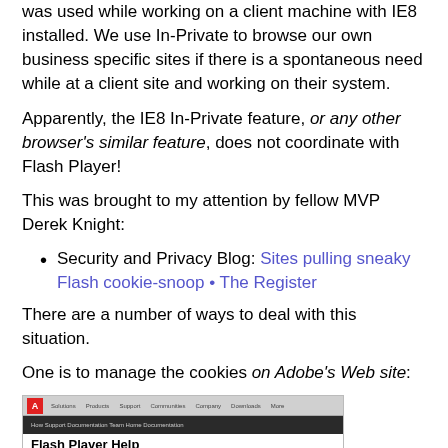was used while working on a client machine with IE8 installed. We use In-Private to browse our own business specific sites if there is a spontaneous need while at a client site and working on their system.
Apparently, the IE8 In-Private feature, or any other browser's similar feature, does not coordinate with Flash Player!
This was brought to my attention by fellow MVP Derek Knight:
Security and Privacy Blog: Sites pulling sneaky Flash cookie-snoop • The Register
There are a number of ways to deal with this situation.
One is to manage the cookies on Adobe's Web site:
[Figure (screenshot): Screenshot of Adobe's Flash Player Help page showing the Website Storage Settings panel and the Adobe Flash Player Settings Manager dialog]